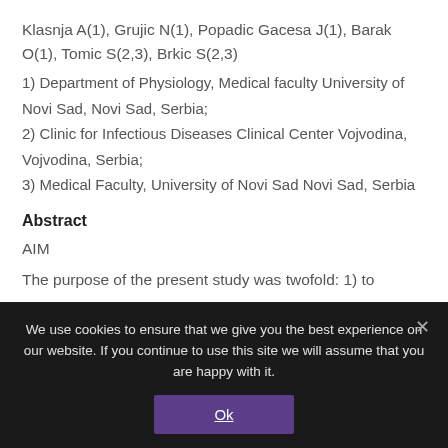Klasnja A(1), Grujic N(1), Popadic Gacesa J(1), Barak O(1), Tomic S(2,3), Brkic S(2,3)
1) Department of Physiology, Medical faculty University of Novi Sad, Novi Sad, Serbia;
2) Clinic for Infectious Diseases Clinical Center Vojvodina, Vojvodina, Serbia;
3) Medical Faculty, University of Novi Sad Novi Sad, Serbia
Abstract
AIM
The purpose of the present study was twofold: 1) to
We use cookies to ensure that we give you the best experience on our website. If you continue to use this site we will assume that you are happy with it.
Ok